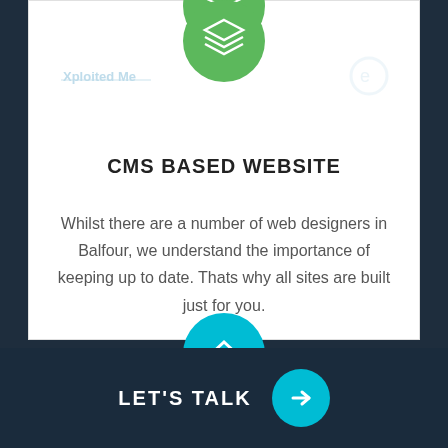[Figure (illustration): Green circle with white stacked layers icon at top of card]
CMS BASED WEBSITE
Whilst there are a number of web designers in Balfour, we understand the importance of keeping up to date. Thats why all sites are built just for you.
Learn More
[Figure (illustration): Cyan circle with white house/home icon at top of second card]
LET'S TALK →